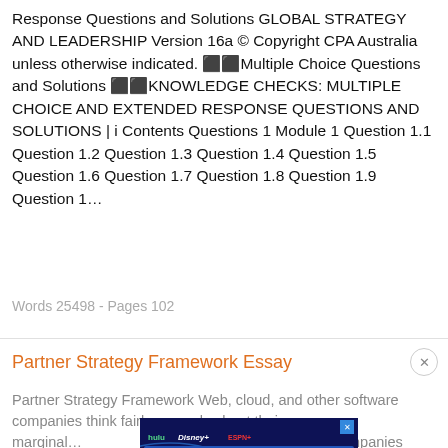Response Questions and Solutions GLOBAL STRATEGY AND LEADERSHIP Version 16a © Copyright CPA Australia unless otherwise indicated. ⬛⬛Multiple Choice Questions and Solutions ⬛⬛KNOWLEDGE CHECKS: MULTIPLE CHOICE AND EXTENDED RESPONSE QUESTIONS AND SOLUTIONS | i Contents Questions 1 Module 1 Question 1.1 Question 1.2 Question 1.3 Question 1.4 Question 1.5 Question 1.6 Question 1.7 Question 1.8 Question 1.9 Question 1…
Words 25498 - Pages 102
Partner Strategy Framework Essay
Partner Strategy Framework Web, cloud, and other software companies think fairly narrowly about their marginal... model, most software companies think fairly narrowly about their
[Figure (screenshot): Advertisement banner for the Disney Bundle featuring Hulu, Disney+, and ESPN+ logos with 'GET THE DISNEY BUNDLE' call to action button and fine print text.]